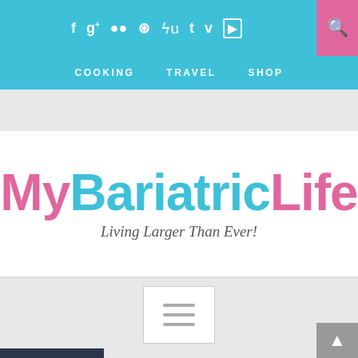f g+ ●● ⊛ su t v ▶ [search]
COOKING   TRAVEL   SHOP
[Figure (logo): MyBariatricLife logo with tagline 'Living Larger Than Ever!']
[Figure (other): Hamburger/menu icon in a bordered box]
Yoga
[Figure (photo): Partial photo of a person doing yoga, partially visible at bottom of page]